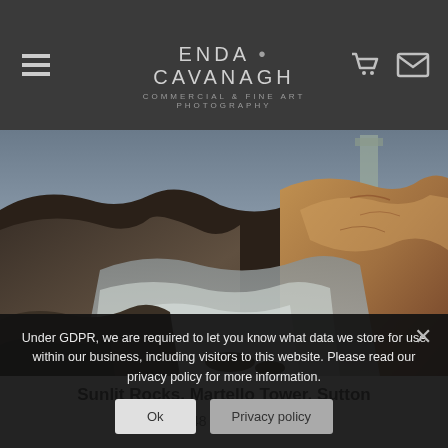ENDA • CAVANAGH — COMMERCIAL & FINE ART PHOTOGRAPHY
[Figure (photo): Coastal scene with sunlit rocks, ocean water, and a Martello Tower in the background at Sutton]
Sunlit Rocks, Martello Tower, Sutton
€ 48 – € 3,084
Under GDPR, we are required to let you know what data we store for use within our business, including visitors to this website. Please read our privacy policy for more information.